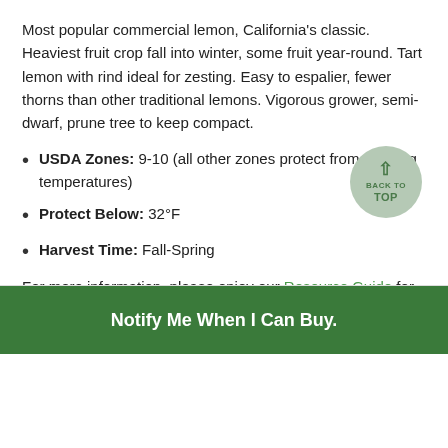Most popular commercial lemon, California's classic. Heaviest fruit crop fall into winter, some fruit year-round. Tart lemon with rind ideal for zesting. Easy to espalier, fewer thorns than other traditional lemons. Vigorous grower, semi-dwarf, prune tree to keep compact.
USDA Zones: 9-10 (all other zones protect from freezing temperatures)
Protect Below: 32°F
Harvest Time: Fall-Spring
For more information, please enjoy our Resource Guide for planting and growing citrus trees.
About Our Citrus
Notify Me When I Can Buy.